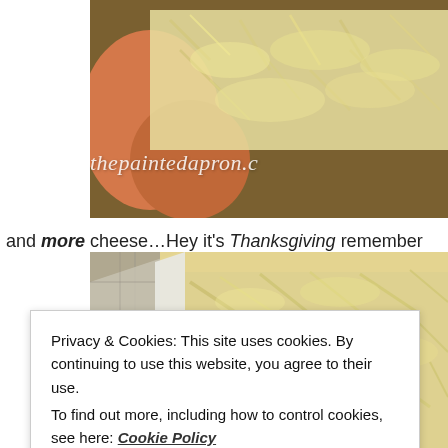[Figure (photo): Close-up photo of shredded cheese on top of food items (stuffed potatoes or similar), with watermark text 'thepaintedapron.c' visible in white italic script over the image.]
and more cheese…Hey it's Thanksgiving remember
[Figure (photo): Close-up photo of a baking dish filled with shredded cheese, shot from above and to the side, showing a casserole or gratin dish on a tile surface.]
Privacy & Cookies: This site uses cookies. By continuing to use this website, you agree to their use.
To find out more, including how to control cookies, see here: Cookie Policy
Close and accept